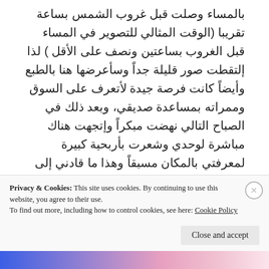بالمساء وصلت قبل غروب الشمس بساعة تقريبا (الوقت المثالي للتصوير في المساء قبل الغروب بساعتين ونصف على الأقل ) لذا إلتقطت صور قليلة جداً وسأعرضها هنا بالطبع وأيضاً كانت فرصة جيدة لأتعرف على السوق وممراته بمساعدة صديقي، وبعد ذلك في الصباح التالي نهضت مبكراً وإتجهت هناك مباشرة لوحدي وشعرت بأربحية كبيرة لمعرفتي بالمكان مسبقاً وهذا ما قادني إلى إلتقاط العديد من الصور الجيدة في هذا السوق وفي حي صغير يجاوره مباشرة. أتمنى أن تروق لكم هذه المجموعة !
Continue reading →
October 5, 2014   4
Privacy & Cookies: This site uses cookies. By continuing to use this website, you agree to their use.
To find out more, including how to control cookies, see here: Cookie Policy
Close and accept